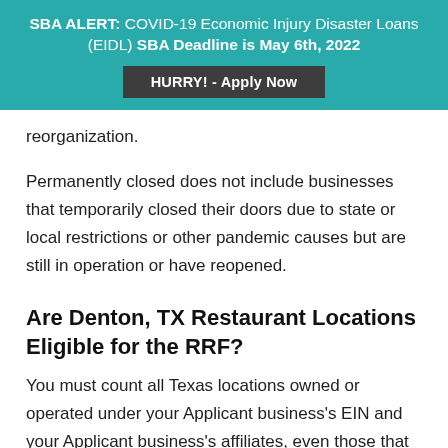SBA ALERT: COVID-19 Economic Injury Disaster Loans (EIDL) SBA Deadline is May 6th, 2022
HURRY! - Apply Now
reorganization.
Permanently closed does not include businesses that temporarily closed their doors due to state or local restrictions or other pandemic causes but are still in operation or have reopened.
Are Denton, TX Restaurant Locations Eligible for the RRF?
You must count all Texas locations owned or operated under your Applicant business's EIN and your Applicant business's affiliates, even those that are not eligible for RRF.